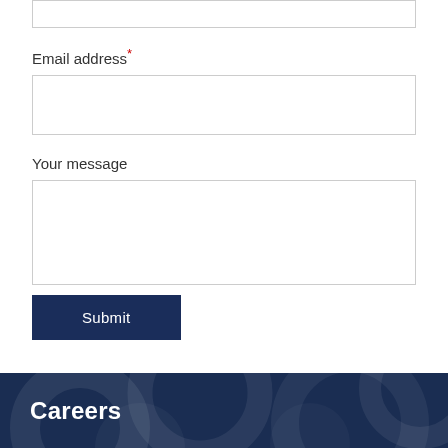Email address*
[Figure (screenshot): Empty text input box for email address field]
Your message
[Figure (screenshot): Empty textarea for message input]
Submit
Careers